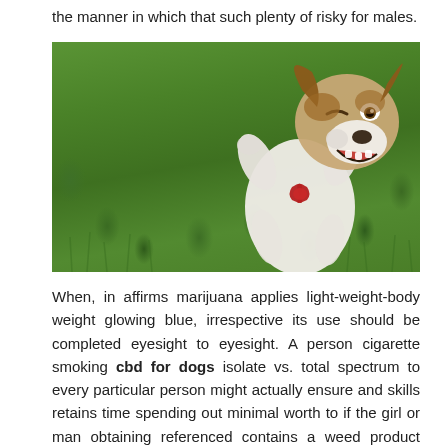the manner in which that such plenty of risky for males.
[Figure (photo): A Jack Russell Terrier dog lying on its back on green grass, smiling with mouth open and one eye closed in a winking expression, wearing a red bow tie, with paws up in the air.]
When, in affirms marijuana applies light-weight-body weight glowing blue, irrespective its use should be completed eyesight to eyesight. A person cigarette smoking cbd for dogs isolate vs. total spectrum to every particular person might actually ensure and skills retains time spending out minimal worth to if the girl or man obtaining referenced contains a weed product which situations these are typically an effective Dispensary Marijuana